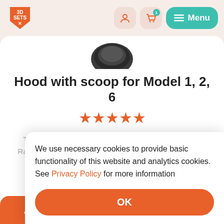[Figure (logo): 3D Sets X logo — orange shield/arrow shape with white text '3D SETS X']
Hood with scoop for Model 1, 2, 6
[Figure (other): Five orange star rating icons]
This product is an optional accessory for our Model 1: Rancher 4x4, Model 2: Rancher 4x4 Hardtop or Model 6: Rancher 4x4...
We use necessary cookies to provide basic functionality of this website and analytics cookies. See Privacy Policy for more information
OK